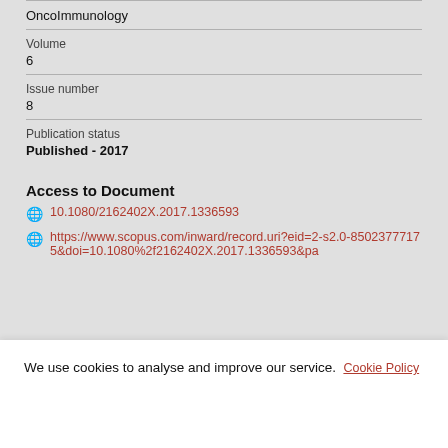OncoImmunology
Volume
6
Issue number
8
Publication status
Published - 2017
Access to Document
10.1080/2162402X.2017.1336593
https://www.scopus.com/inward/record.uri?eid=2-s2.0-85023777175&doi=10.1080%2f2162402X.2017.1336593&pa
We use cookies to analyse and improve our service. Cookie Policy